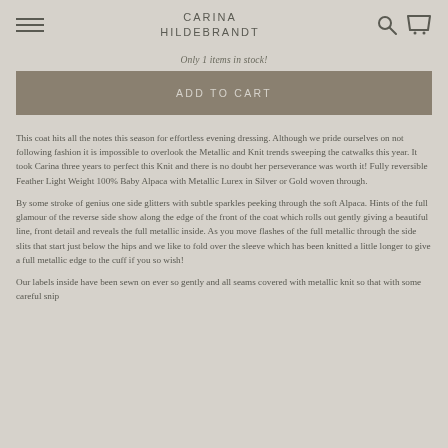CARINA HILDEBRANDT
Only 1 items in stock!
ADD TO CART
This coat hits all the notes this season for effortless evening dressing. Although we pride ourselves on not following fashion it is impossible to overlook the Metallic and Knit trends sweeping the catwalks this year. It took Carina three years to perfect this Knit and there is no doubt her perseverance was worth it! Fully reversible Feather Light Weight 100% Baby Alpaca with Metallic Lurex in Silver or Gold woven through.
By some stroke of genius one side glitters with subtle sparkles peeking through the soft Alpaca. Hints of the full glamour of the reverse side show along the edge of the front of the coat which rolls out gently giving a beautiful line, front detail and reveals the full metallic inside. As you move flashes of the full metallic through the side slits that start just below the hips and we like to fold over the sleeve which has been knitted a little longer to give a full metallic edge to the cuff if you so wish!
Our labels inside have been sewn on ever so gently and all seams covered with metallic knit so that with some careful snip...